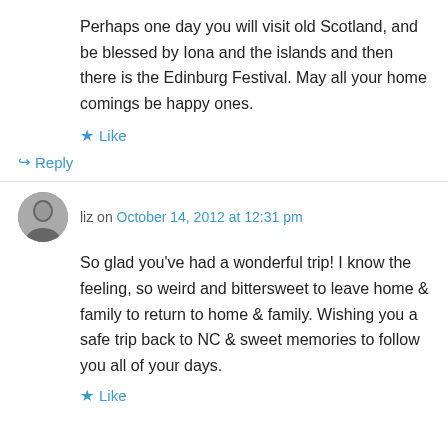Perhaps one day you will visit old Scotland, and be blessed by Iona and the islands and then there is the Edinburg Festival. May all your home comings be happy ones.
Like
↳ Reply
liz on October 14, 2012 at 12:31 pm
So glad you've had a wonderful trip! I know the feeling, so weird and bittersweet to leave home & family to return to home & family. Wishing you a safe trip back to NC & sweet memories to follow you all of your days.
Like